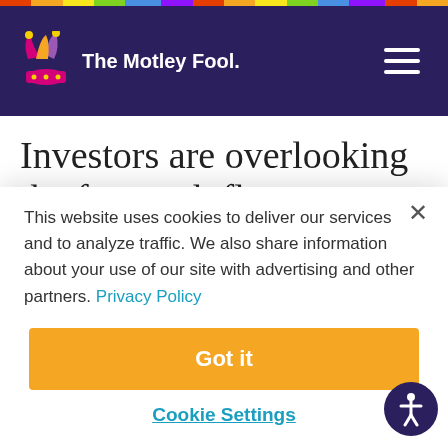[Figure (logo): The Motley Fool logo with jester hat on dark purple navigation bar]
Investors are overlooking the free cash flow generation and earnings growth potential in this
This website uses cookies to deliver our services and to analyze traffic. We also share information about your use of our site with advertising and other partners. Privacy Policy
Got it
Cookie Settings